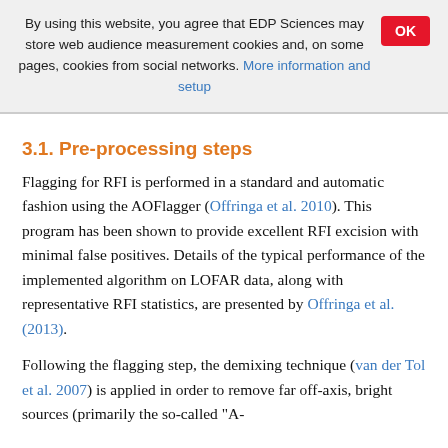By using this website, you agree that EDP Sciences may store web audience measurement cookies and, on some pages, cookies from social networks. More information and setup
3.1. Pre-processing steps
Flagging for RFI is performed in a standard and automatic fashion using the AOFlagger (Offringa et al. 2010). This program has been shown to provide excellent RFI excision with minimal false positives. Details of the typical performance of the implemented algorithm on LOFAR data, along with representative RFI statistics, are presented by Offringa et al. (2013).
Following the flagging step, the demixing technique (van der Tol et al. 2007) is applied in order to remove far off-axis, bright sources (primarily the so-called "A-